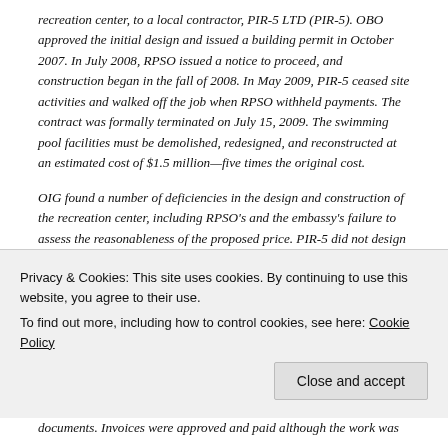recreation center, to a local contractor, PIR-5 LTD (PIR-5). OBO approved the initial design and issued a building permit in October 2007. In July 2008, RPSO issued a notice to proceed, and construction began in the fall of 2008. In May 2009, PIR-5 ceased site activities and walked off the job when RPSO withheld payments. The contract was formally terminated on July 15, 2009. The swimming pool facilities must be demolished, redesigned, and reconstructed at an estimated cost of $1.5 million—five times the original cost.
OIG found a number of deficiencies in the design and construction of the recreation center, including RPSO's and the embassy's failure to assess the reasonableness of the proposed price. PIR-5 did not design and construct the Dushanbe recreation center according to required building codes and guidelines. Required designs were not submitted by PIR-5...
documents. Invoices were approved and paid although the work was